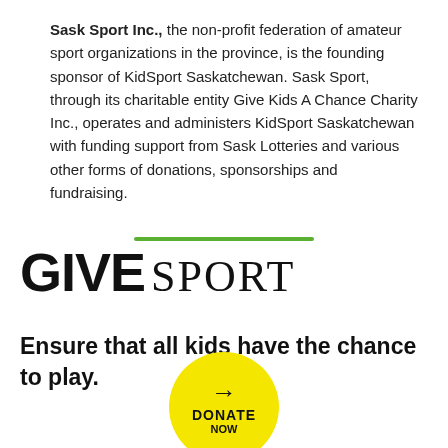Sask Sport Inc., the non-profit federation of amateur sport organizations in the province, is the founding sponsor of KidSport Saskatchewan. Sask Sport, through its charitable entity Give Kids A Chance Charity Inc., operates and administers KidSport Saskatchewan with funding support from Sask Lotteries and various other forms of donations, sponsorships and fundraising.
[Figure (other): A green horizontal decorative stroke/divider line (footer_stroke_green)]
GIVE SPORT
Ensure that all kids have the chance to play.
[Figure (other): Yellow circular donate button with arrow and text DONATE NOW]